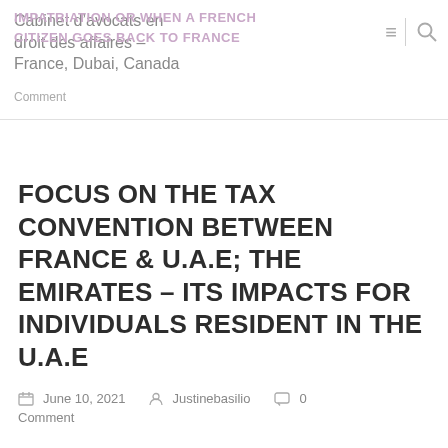Cabinet d’avocats en droit des affaires – France, Dubai, Canada
IMPATRIATION OR WHEN A FRENCH CITIZEN GOES BACK TO FRANCE
Comment
FOCUS ON THE TAX CONVENTION BETWEEN FRANCE & U.A.E; THE EMIRATES – ITS IMPACTS FOR INDIVIDUALS RESIDENT IN THE U.A.E
June 10, 2021  Justinebasilio  0 Comment